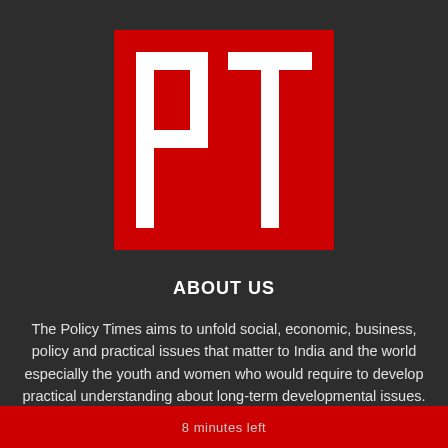[Figure (logo): PT logo — white letters 'PT' on a red square background]
ABOUT US
The Policy Times aims to unfold social, economic, business, policy and practical issues that matter to India and the world especially the youth and women who would require to develop practical understanding about long-term developmental issues.
8 minutes left